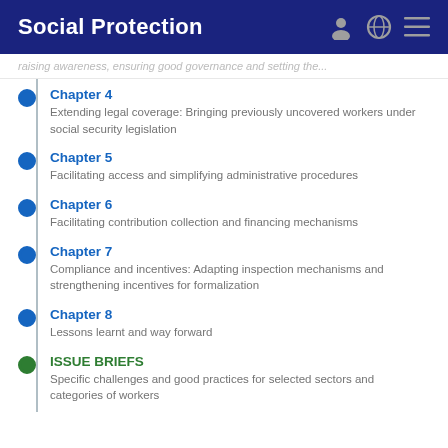Social Protection
raising awareness, ensuring good governance and setting the...
Chapter 4
Extending legal coverage: Bringing previously uncovered workers under social security legislation
Chapter 5
Facilitating access and simplifying administrative procedures
Chapter 6
Facilitating contribution collection and financing mechanisms
Chapter 7
Compliance and incentives: Adapting inspection mechanisms and strengthening incentives for formalization
Chapter 8
Lessons learnt and way forward
ISSUE BRIEFS
Specific challenges and good practices for selected sectors and categories of workers